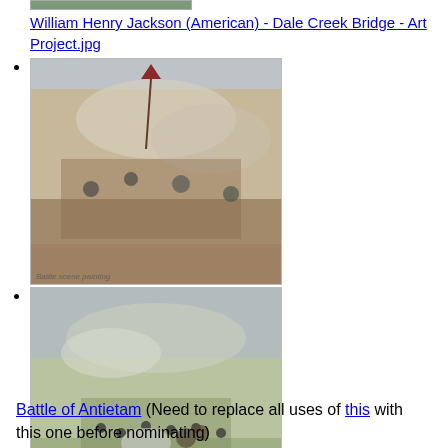William Henry Jackson (American) - Dale Creek Bridge - Art Project.jpg
[Figure (photo): Battle scene painting showing soldiers in combat with a Confederate flag, smoke and chaos on a hillside]
[Figure (photo): Battle of Antietam painting showing Union soldiers advancing across an open field with horses and artillery smoke]
Battle of Antietam (Need to replace all uses of this with this one before nominating)